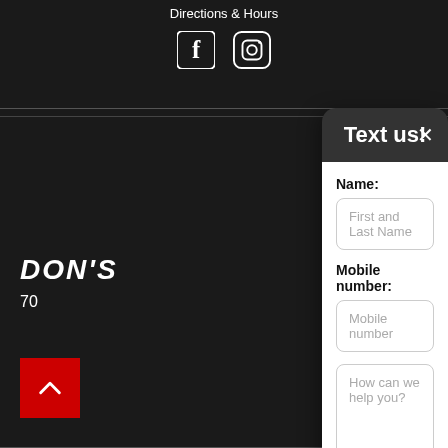Directions & Hours
[Figure (screenshot): Facebook and Instagram social media icons in white on dark background]
Text us!
Name:
First and Last Name
Mobile number:
Mobile number
How can we help you?
Send Text
Powered by Ikeono
DON'S
70